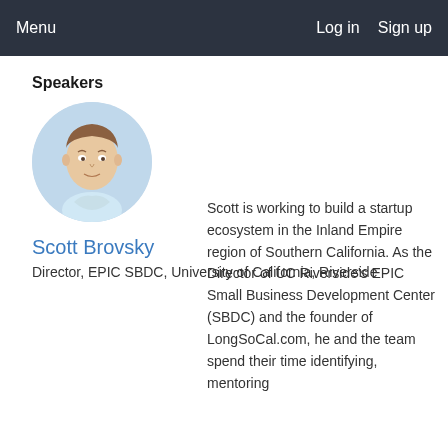Menu   Log in   Sign up
Speakers
[Figure (photo): Circular headshot of Scott Brovsky, a man with short brown hair wearing a light blue shirt, against a light blue background.]
Scott Brovsky
Director, EPIC SBDC, University of California, Riverside
Scott is working to build a startup ecosystem in the Inland Empire region of Southern California. As the Director of UC Riverside's EPIC Small Business Development Center (SBDC) and the founder of LongSoCal.com, he and the team spend their time identifying, mentoring